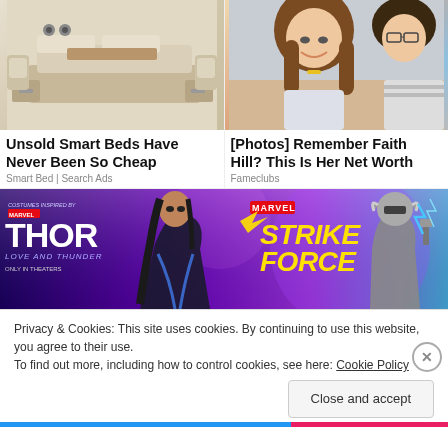[Figure (photo): Unsold Smart Beds promotional photo showing a modern smart bed with storage drawers and reclining chairs, beige/tan furniture]
[Figure (photo): Photo of Faith Hill as a young woman smiling with long brown hair, another woman visible at right wearing glasses]
Unsold Smart Beds Have Never Been So Cheap
[Photos] Remember Faith Hill? This Is Her Net Worth
Smart Bed | Search Ads
Fameclubs
[Figure (screenshot): Marvel Strike Force banner advertisement with Thor: Love and Thunder movie tie-in, showing Marvel Strike Force logo in yellow text and animated characters on purple/blue gradient background]
Privacy & Cookies: This site uses cookies. By continuing to use this website, you agree to their use.
To find out more, including how to control cookies, see here: Cookie Policy
Close and accept